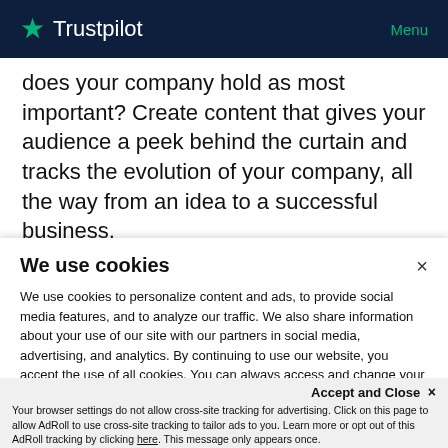Trustpilot  Menu
does your company hold as most important? Create content that gives your audience a peek behind the curtain and tracks the evolution of your company, all the way from an idea to a successful business.
We use cookies
We use cookies to personalize content and ads, to provide social media features, and to analyze our traffic. We also share information about your use of our site with our partners in social media, advertising, and analytics. By continuing to use our website, you accept the use of all cookies. You can always access and change your cookie preferences in the footer of this website.
Accept and Close ×
Your browser settings do not allow cross-site tracking for advertising. Click on this page to allow AdRoll to use cross-site tracking to tailor ads to you. Learn more or opt out of this AdRoll tracking by clicking here. This message only appears once.